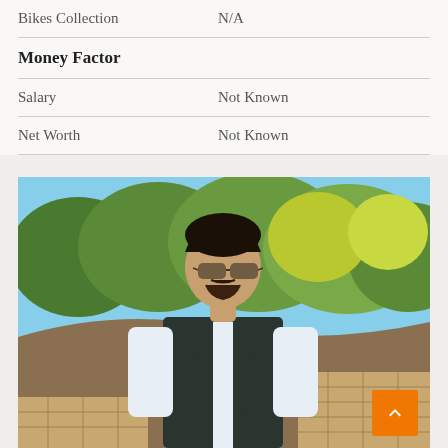| Bikes Collection | N/A |
| Money Factor |  |
| Salary | Not Known |
| Net Worth | Not Known |
[Figure (photo): A young man with sunglasses, wearing a dark vest, white shirt, and red tie, standing outdoors with trees and a stone wall in the background.]